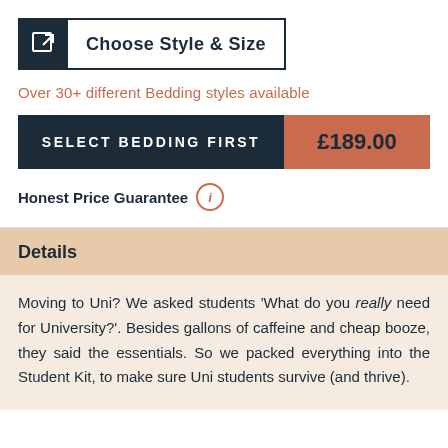Choose Style & Size
Over 30+ different Bedding styles available
SELECT BEDDING FIRST   £189.00
Honest Price Guarantee ⓘ
Details
Moving to Uni? We asked students ‘What do you really need for University?’. Besides gallons of caffeine and cheap booze, they said the essentials. So we packed everything into the Student Kit, to make sure Uni students survive (and thrive).